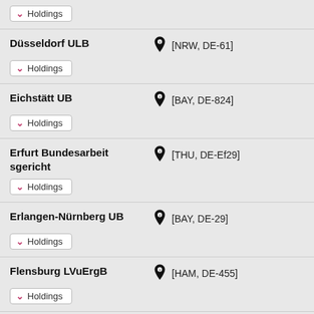Holdings (collapsed button)
Düsseldorf ULB [NRW, DE-61] Holdings
Eichstätt UB [BAY, DE-824] Holdings
Erfurt Bundesarbeitsgericht [THU, DE-Ef29] Holdings
Erlangen-Nürnberg UB [BAY, DE-29] Holdings
Flensburg LVuErgB [HAM, DE-455] Holdings